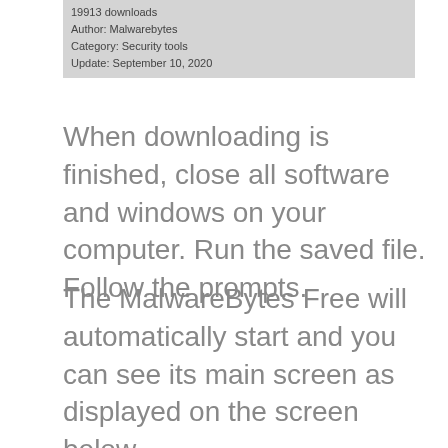19913 downloads
Author: Malwarebytes
Category: Security tools
Update: September 10, 2020
When downloading is finished, close all software and windows on your computer. Run the saved file. Follow the prompts.
The MalwareBytes Free will automatically start and you can see its main screen as displayed on the screen below.